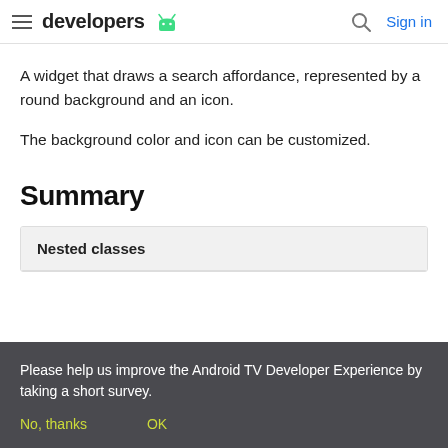developers | Sign in
A widget that draws a search affordance, represented by a round background and an icon.
The background color and icon can be customized.
Summary
| Nested classes |
| --- |
Please help us improve the Android TV Developer Experience by taking a short survey.
No, thanks    OK